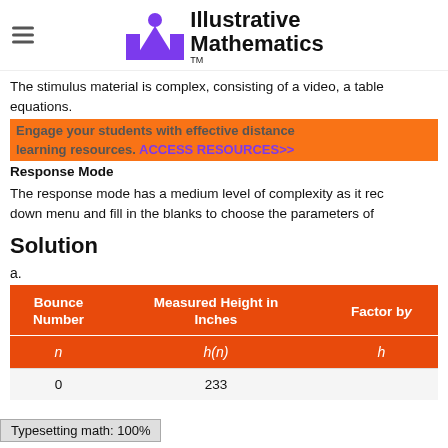Illustrative Mathematics
The stimulus material is complex, consisting of a video, a table, equations.
Engage your students with effective distance learning resources. ACCESS RESOURCES>>
Response Mode
The response mode has a medium level of complexity as it requires students to use a drop down menu and fill in the blanks to choose the parameters of
Solution
a.
| Bounce Number | Measured Height in Inches | Factor by |
| --- | --- | --- |
| n | h(n) | h |
| 0 | 233 |  |
Typesetting math: 100%